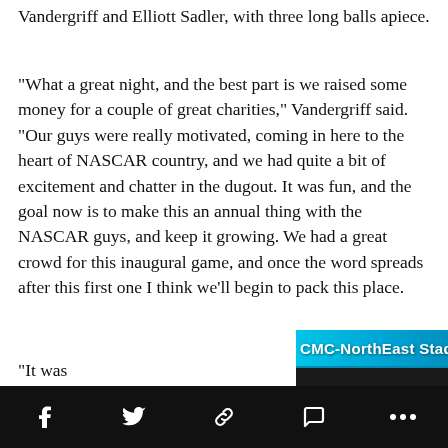Vandergriff and Elliott Sadler, with three long balls apiece.
“What a great night, and the best part is we raised some money for a couple of great charities,” Vandergriff said. “Our guys were really motivated, coming in here to the heart of NASCAR country, and we had quite a bit of excitement and chatter in the dugout. It was fun, and the goal now is to make this an annual thing with the NASCAR guys, and keep it growing. We had a great crowd for this inaugural game, and once the word spreads after this first one I think we’ll begin to pack this place.
“It was great to get out there
[Figure (photo): Photo showing CMC-NorthEast Stadium signage in blue/cyan colors with sponsor logos below including Coca-Cola and Pepsi]
Social share bar with Facebook, Twitter, link, comment, and more icons